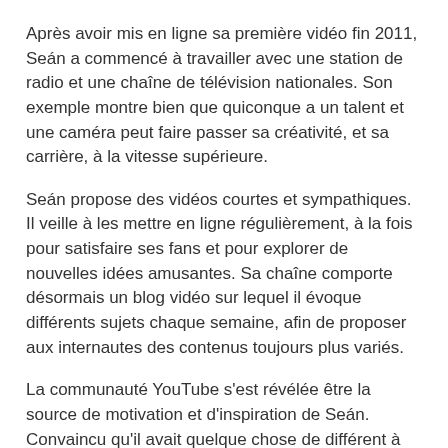Après avoir mis en ligne sa première vidéo fin 2011, Seán a commencé à travailler avec une station de radio et une chaîne de télévision nationales. Son exemple montre bien que quiconque a un talent et une caméra peut faire passer sa créativité, et sa carrière, à la vitesse supérieure.
Seán propose des vidéos courtes et sympathiques. Il veille à les mettre en ligne régulièrement, à la fois pour satisfaire ses fans et pour explorer de nouvelles idées amusantes. Sa chaîne comporte désormais un blog vidéo sur lequel il évoque différents sujets chaque semaine, afin de proposer aux internautes des contenus toujours plus variés.
La communauté YouTube s'est révélée être la source de motivation et d'inspiration de Seán. Convaincu qu'il avait quelque chose de différent à proposer sur YouTube, et avec le soutien d'autres partenaires YouTube et d'amis, Seán a surmonté sa timidité et trouvé le courage d'exposer son talent.
"J'encourage le public de YouTube à alimenter l'Ici...